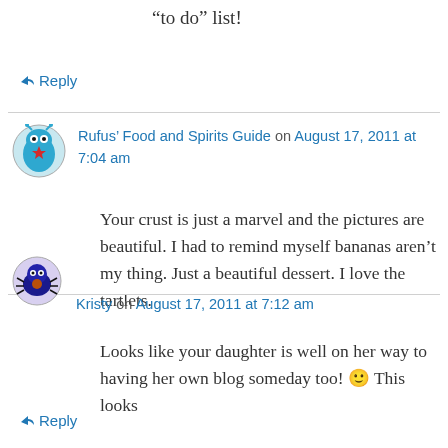“to do” list!
↳ Reply
Rufus’ Food and Spirits Guide on August 17, 2011 at 7:04 am
Your crust is just a marvel and the pictures are beautiful. I had to remind myself bananas aren’t my thing. Just a beautiful dessert. I love the tartlets.
↳ Reply
Kristy on August 17, 2011 at 7:12 am
Looks like your daughter is well on her way to having her own blog someday too! 🙂 This looks